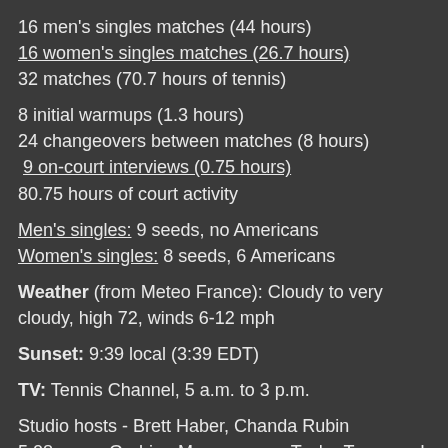16 men's singles matches (44 hours)
16 women's singles matches (26.7 hours)
32 matches (70.7 hours of tennis)
8 initial warmups (1.3 hours)
24 changeovers between matches (8 hours)
9 on-court interviews (0.75 hours)
80.75 hours of court activity
Men's singles: 9 seeds, no Americans
Women's singles: 8 seeds, 6 Americans
Weather (from Meteo France): Cloudy to very cloudy, high 72, winds 6-12 mph
Sunset: 9:39 local (3:39 EDT)
TV: Tennis Channel, 5 a.m. to 3 p.m.
Studio hosts - Brett Haber, Chanda Rubin
5:08 a.m. - Garbine Muguruza vs. Taylor Townsend (SM) -